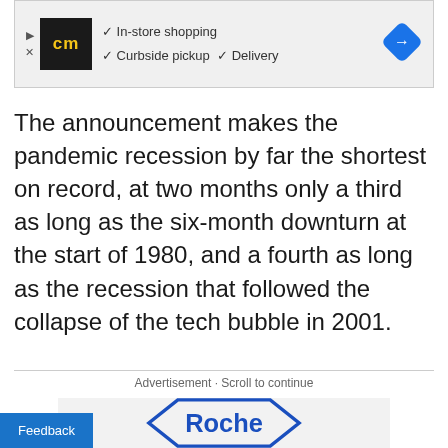[Figure (other): Advertisement banner for a store with checkmarks listing: In-store shopping, Curbside pickup, Delivery, and a blue navigation arrow icon on the right]
The announcement makes the pandemic recession by far the shortest on record, at two months only a third as long as the six-month downturn at the start of 1980, and a fourth as long as the recession that followed the collapse of the tech bubble in 2001.
Advertisement · Scroll to continue
[Figure (logo): Roche pharmaceutical company logo — blue hexagon outline with 'Roche' text in blue inside, on a light grey background]